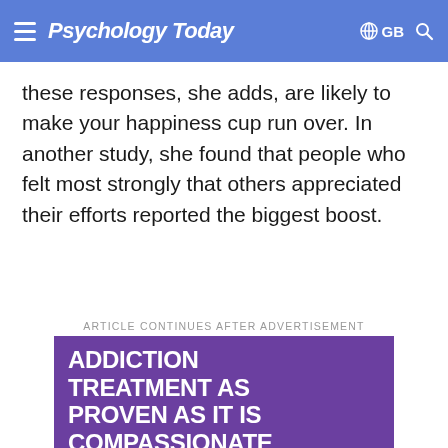Psychology Today
these responses, she adds, are likely to make your happiness cup run over. In another study, she found that people who felt most strongly that others appreciated their efforts reported the biggest boost.
ARTICLE CONTINUES AFTER ADVERTISEMENT
[Figure (infographic): Advertisement for McLean Hospital: 'ADDICTION TREATMENT AS PROVEN AS IT IS COMPASSIONATE' with purple background, teal footer with McLean logo and Best Hospitals badge]